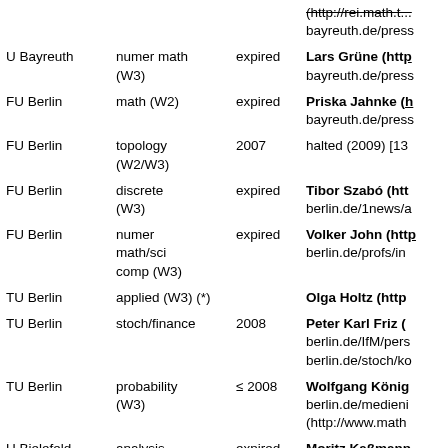| Institution | Field | Year | Details |
| --- | --- | --- | --- |
|  |  |  | (http://rei.math.t... bayreuth.de/press |
| U Bayreuth | numer math (W3) | expired | Lars Grüne (http... bayreuth.de/press |
| FU Berlin | math (W2) | expired | Priska Jahnke (h... bayreuth.de/press |
| FU Berlin | topology (W2/W3) | 2007 | halted (2009) [13... |
| FU Berlin | discrete (W3) | expired | Tibor Szabó (htt... berlin.de/1news/a |
| FU Berlin | numer math/sci comp (W3) | expired | Volker John (htt... berlin.de/profs/in |
| TU Berlin | applied (W3) | (*) | Olga Holtz (http |
| TU Berlin | stoch/finance | 2008 | Peter Karl Friz (... berlin.de/IfM/pers... berlin.de/stoch/ko |
| TU Berlin | probability (W3) | ≤ 2008 | Wolfgang König... berlin.de/medieni... (http://www.math |
| U Bielefeld | analysis (W2) | expired | Moritz Kaßmann... bielefeld.de/Unive |
| U Bonn | stoch (W2) | expired | Patrik Ferrari (h |